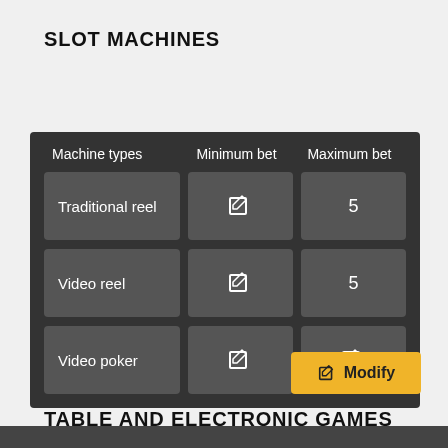SLOT MACHINES
| Machine types | Minimum bet | Maximum bet |
| --- | --- | --- |
| Traditional reel | [edit] | 5 |
| Video reel | [edit] | 5 |
| Video poker | [edit] | [edit] |
[Figure (other): Yellow Modify button with edit icon]
TABLE AND ELECTRONIC GAMES